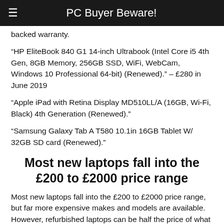PC Buyer Beware!
backed warranty.
“HP EliteBook 840 G1 14-inch Ultrabook (Intel Core i5 4th Gen, 8GB Memory, 256GB SSD, WiFi, WebCam, Windows 10 Professional 64-bit) (Renewed).” – £280 in June 2019
“Apple iPad with Retina Display MD510LL/A (16GB, Wi-Fi, Black) 4th Generation (Renewed).”
“Samsung Galaxy Tab A T580 10.1in 16GB Tablet W/ 32GB SD card (Renewed).”
Most new laptops fall into the £200 to £2000 price range
Most new laptops fall into the £200 to £2000 price range, but far more expensive makes and models are available. However, refurbished laptops can be half the price of what the cost was